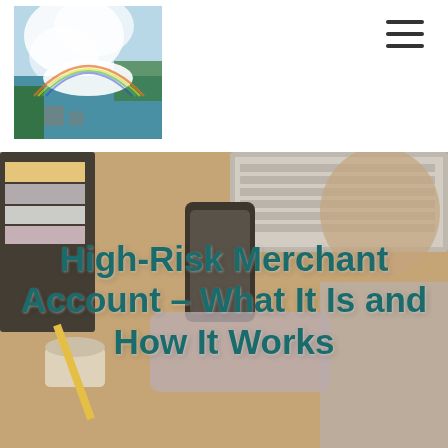[Figure (photo): Aerial photo of Niagara Falls with rainbow and surrounding landscape, used as website logo/header image]
[Figure (other): Hamburger menu icon (three horizontal lines) in top-right corner]
[Figure (photo): Background photo of a person at a desk with laptop, phone, coffee, notebooks, and color swatches, with overlaid bold teal text reading: High-Risk Merchant Account – What It Is and How It Works]